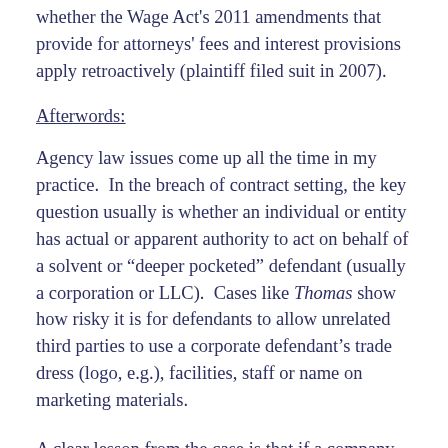whether the Wage Act's 2011 amendments that provide for attorneys' fees and interest provisions apply retroactively (plaintiff filed suit in 2007).
Afterwords:
Agency law issues come up all the time in my practice.  In the breach of contract setting, the key question usually is whether an individual or entity has actual or apparent authority to act on behalf of a solvent or “deeper pocketed” defendant (usually a corporation or LLC).  Cases like Thomas show how risky it is for defendants to allow unrelated third parties to use a corporate defendant’s trade dress (logo, e.g.), facilities, staff or name on marketing materials.
A clear lesson from the case is that if a company